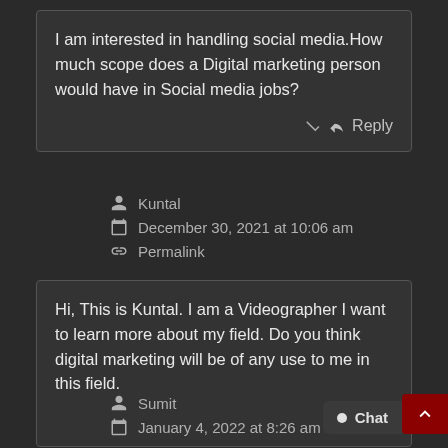I am interested in handling social media.How much scope does a Digital marketing person would have in Social media jobs?
Reply
Kuntal
December 30, 2021 at 10:06 am
Permalink
Hi, This is Kuntal. I am a Videographer I want to learn more about my field. Do you think digital marketing will be of any use to me in this field.
Reply
Sumit
January 4, 2022 at 8:26 am